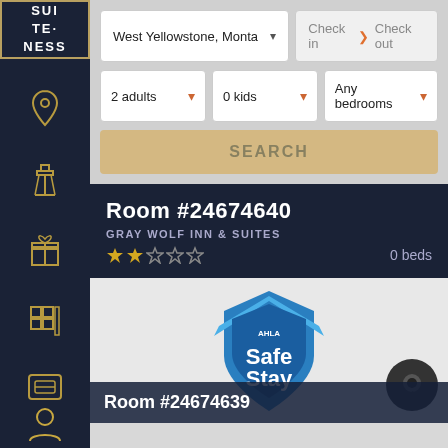[Figure (screenshot): Suiteness hotel booking app sidebar logo with SUI-TE-NESS text in white on dark navy background with gold border]
[Figure (screenshot): Navigation sidebar icons: location pin, tower/hotel, gift, building grid, room key card, user profile — in gold outline on dark navy background]
West Yellowstone, Monta
Check in  > Check out
2 adults
0 kids
Any bedrooms
SEARCH
Room #24674640
GRAY WOLF INN & SUITES
0 beds
[Figure (logo): AHLA Safe Stay shield badge in blue and white]
Room #24674639